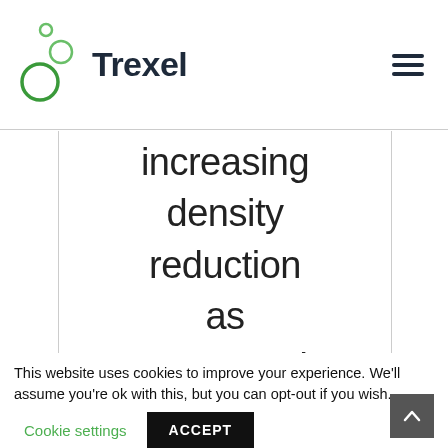[Figure (logo): Trexel company logo with green circles and dark navy wordmark 'Trexel']
increasing density reduction as compared to a
This website uses cookies to improve your experience. We'll assume you're ok with this, but you can opt-out if you wish.
Cookie settings
ACCEPT